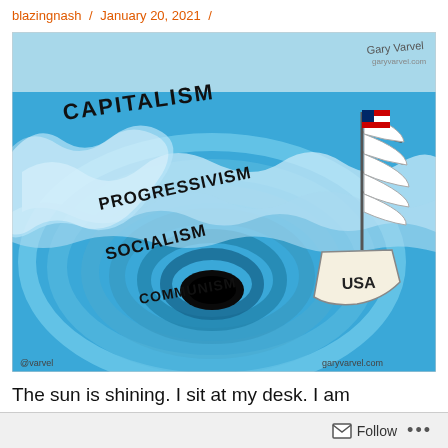blazingnash / January 20, 2021 /
[Figure (illustration): Political cartoon by Gary Varvel (garyvarvel.com). A large whirlpool/vortex in the ocean with a sailing ship labeled 'USA' with an American flag at the mast on the right side. The words 'CAPITALISM' appear at the top left outside the vortex, 'PROGRESSIVISM' appears on the outer ring of the whirlpool, 'SOCIALISM' appears in the middle ring, and 'COMMUNISM' appears near the dark center void. Watermarks: @varvel (bottom left) and garyvarvel.com (bottom right).]
The sun is shining. I sit at my desk. I am surrounded by complete quiet. Peace, not so
Follow ...